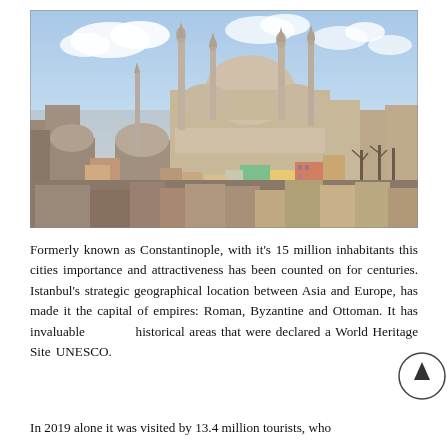[Figure (photo): Aerial/elevated view of Istanbul skyline featuring the Süleymaniye Mosque with its large dome and multiple minarets rising above a dense urban landscape of mixed historic and modern buildings under a partly cloudy sky.]
Formerly known as Constantinople, with it's 15 million inhabitants this cities importance and attractiveness has been counted on for centuries. Istanbul's strategic geographical location between Asia and Europe, has made it the capital of empires: Roman, Byzantine and Ottoman. It has invaluable historical areas that were declared a World Heritage Site by UNESCO.
In 2019 alone it was visited by 13.4 million tourists, who